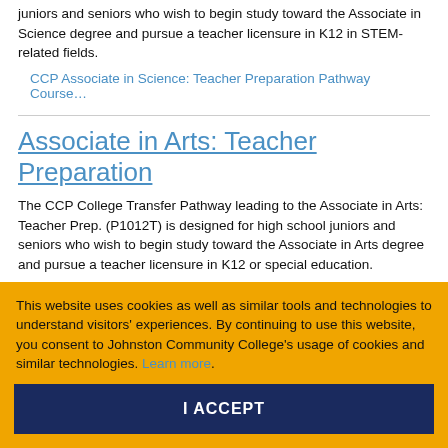juniors and seniors who wish to begin study toward the Associate in Science degree and pursue a teacher licensure in K12 in STEM-related fields.
CCP Associate in Science: Teacher Preparation Pathway Course…
Associate in Arts: Teacher Preparation
The CCP College Transfer Pathway leading to the Associate in Arts: Teacher Prep. (P1012T) is designed for high school juniors and seniors who wish to begin study toward the Associate in Arts degree and pursue a teacher licensure in K12 or special education.
CCP Associate in Arts: Teacher Preparation Pathway Courses
This website uses cookies as well as similar tools and technologies to understand visitors' experiences. By continuing to use this website, you consent to Johnston Community College's usage of cookies and similar technologies. Learn more.
I ACCEPT